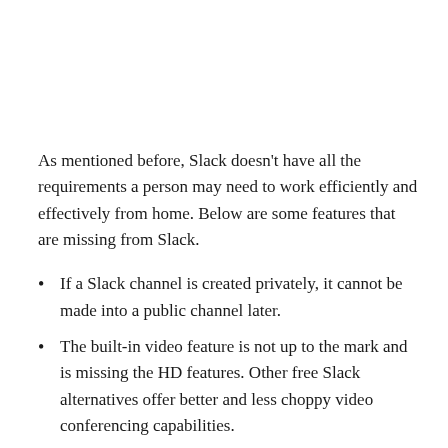As mentioned before, Slack doesn’t have all the requirements a person may need to work efficiently and effectively from home. Below are some features that are missing from Slack.
If a Slack channel is created privately, it cannot be made into a public channel later.
The built-in video feature is not up to the mark and is missing the HD features. Other free Slack alternatives offer better and less choppy video conferencing capabilities.
The search feature is not efficient in finding information that is needed at the time, and it misses or skips a lot of it at the time of the search.